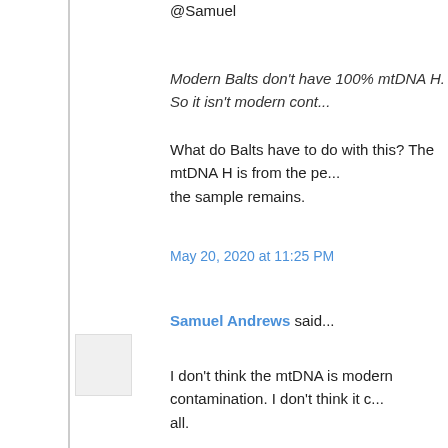@Samuel
Modern Balts don't have 100% mtDNA H. So it isn't modern cont...
What do Balts have to do with this? The mtDNA H is from the per... the sample remains.
May 20, 2020 at 11:25 PM
Samuel Andrews said...
I don't think the mtDNA is modern contamination. I don't think it c... all.
In these bad ancient mTDNA studies I see two things. No mutatio... and random mutations which don't fit profile of any haplogroup.
This is because, their mtDNA results don't come from a human p... ancient person of modern researcher handling their bones. Ut is ... don't match any human lineage.
Which, is why you get really weird results in some studies. Like n... Neolithic Ukraine. It really wasn't mHG C. It was random mutatio... mHG C.
May 20, 2020 at 11:41 PM